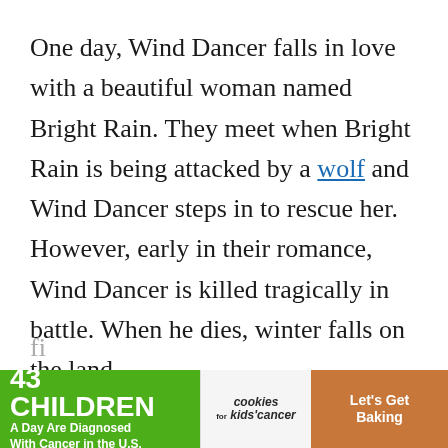One day, Wind Dancer falls in love with a beautiful woman named Bright Rain. They meet when Bright Rain is being attacked by a wolf and Wind Dancer steps in to rescue her. However, early in their romance, Wind Dancer is killed tragically in battle. When he dies, winter falls on the land.
Grieving, Bright Rain walks into an open
[Figure (other): Advertisement banner: '43 CHILDREN A Day Are Diagnosed With Cancer in the U.S.' with cookies for kids cancer logo and 'Let's Get Baking' text on brown background]